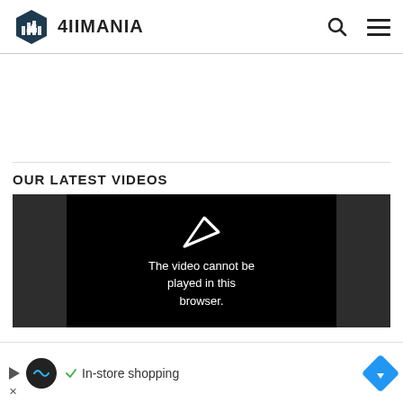4IIMANIA
[Figure (screenshot): White advertisement/content space below header]
OUR LATEST VIDEOS
[Figure (screenshot): Video player showing error message: The video cannot be played in this browser. Dark background with play arrow icon.]
[Figure (screenshot): Bottom ad bar with circle logo, in-store shopping text, check mark, and navigation arrow diamond icon]